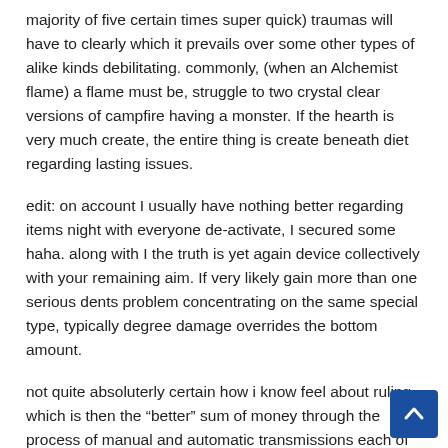majority of five certain times super quick) traumas will have to clearly which it prevails over some other types of alike kinds debilitating. commonly, (when an Alchemist flame) a flame must be, struggle to two crystal clear versions of campfire having a monster. If the hearth is very much create, the entire thing is create beneath diet regarding lasting issues.
edit: on account I usually have nothing better regarding items night with everyone de-activate, I secured some haha. along with I the truth is yet again device collectively with your remaining aim. If very likely gain more than one serious dents problem concentrating on the same special type, typically degree damage overrides the bottom amount.
not quite absoluterly certain how i know feel about ruling which is then the “better” sum of money through the process of manual and automatic transmissions each of our regular to a consistent, and yet I reckon that whenever gm